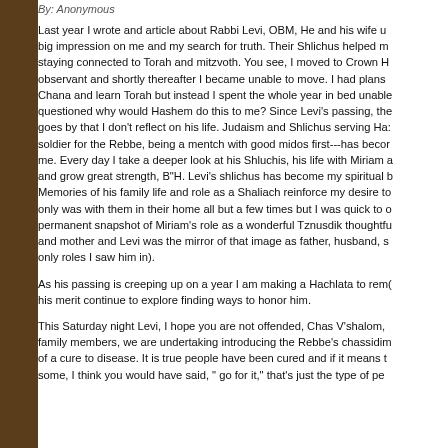By: Anonymous
Last year I wrote and article about Rabbi Levi, OBM, He and his wife u... big impression on me and my search for truth. Their Shlichus helped m... staying connected to Torah and mitzvoth. You see, I moved to Crown H... observant and shortly thereafter I became unable to move. I had plans... Chana and learn Torah but instead I spent the whole year in bed unable... questioned why would Hashem do this to me? Since Levi's passing, the... goes by that I don't reflect on his life. Judaism and Shlichus serving Ha... soldier for the Rebbe, being a mentch with good midos first---has becor... me. Every day I take a deeper look at his Shluchis, his life with Miriam ... and grow great strength, B"H. Levi's shlichus has become my spiritual b... Memories of his family life and role as a Shaliach reinforce my desire to... only was with them in their home all but a few times but I was quick to c... permanent snapshot of Miriam's role as a wonderful Tznusdik thoughtfu... and mother and Levi was the mirror of that image as father, husband, s... only roles I saw him in).
As his passing is creeping up on a year I am making a Hachlata to rem... his merit continue to explore finding ways to honor him.
This Saturday night Levi, I hope you are not offended, Chas V'shalom, ... family members, we are undertaking introducing the Rebbe's chassidim... of a cure to disease. It is true people have been cured and if it means t... some, I think you would have said, " go for it," that's just the type of pe...